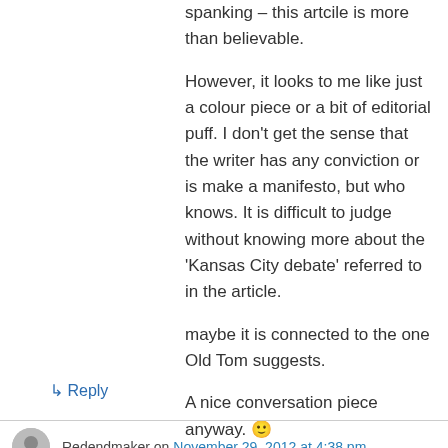spanking – this artcile is more than believable.
However, it looks to me like just a colour piece or a bit of editorial puff. I don’t get the sense that the writer has any conviction or is make a manifesto, but who knows. It is difficult to judge without knowing more about the ‘Kansas City debate’ referred to in the article.
maybe it is connected to the one Old Tom suggests.
A nice conversation piece anyway. 🙂
↳ Reply
Redendmaker on November 29, 2012 at 4:38 pm